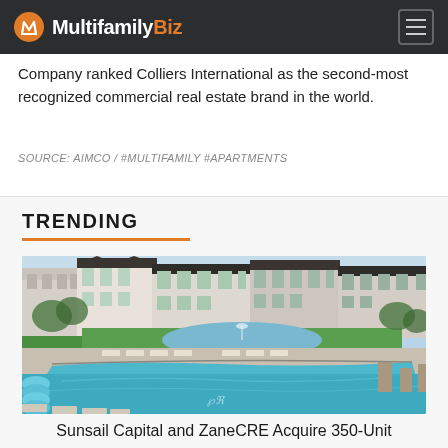MultifamilyBiz
Company ranked Colliers International as the second-most recognized commercial real estate brand in the world.
SOURCE: AIMCO / #MULTIFAMILY #APARTMENTS
TRENDING
[Figure (photo): Aerial view of a luxury apartment complex with a large pool in the foreground, lounge chairs, and multi-story residential buildings around a pond in the background. Lush green lawn visible.]
Sunsail Capital and ZaneCRE Acquire 350-Unit